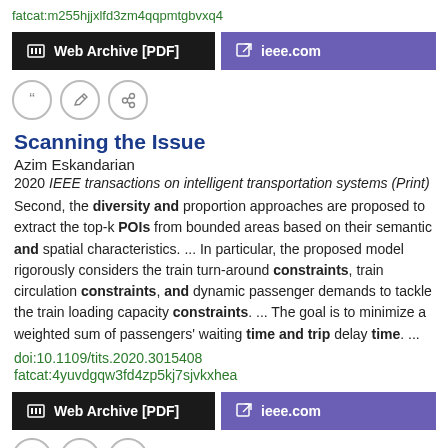fatcat:m255hjjxlfd3zm4qqpmtgbvxq4
[Figure (screenshot): Two buttons: 'Web Archive [PDF]' (black) and 'ieee.com' (purple)]
[Figure (screenshot): Three icon buttons: quote, edit, link]
Scanning the Issue
Azim Eskandarian
2020 IEEE transactions on intelligent transportation systems (Print)
Second, the diversity and proportion approaches are proposed to extract the top-k POIs from bounded areas based on their semantic and spatial characteristics. ... In particular, the proposed model rigorously considers the train turn-around constraints, train circulation constraints, and dynamic passenger demands to tackle the train loading capacity constraints. ... The goal is to minimize a weighted sum of passengers' waiting time and trip delay time. ...
doi:10.1109/tits.2020.3015408
fatcat:4yuvdgqw3fd4zp5kj7sjvkxhea
[Figure (screenshot): Two buttons: 'Web Archive [PDF]' (black) and 'ieee.com' (purple)]
[Figure (screenshot): Three icon buttons: quote, edit, link (partially visible)]